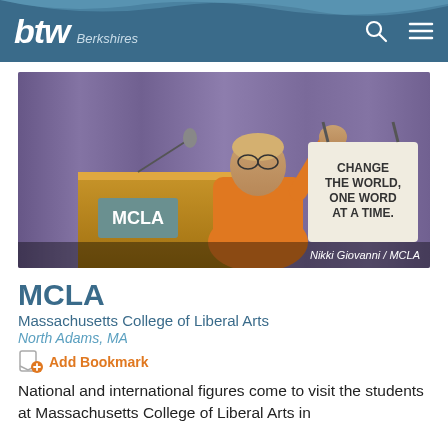btw Berkshires
[Figure (photo): A speaker in an orange outfit holding up a tote bag reading 'CHANGE THE WORLD, ONE WORD AT A TIME.' at an MCLA podium. Caption: Nikki Giovanni / MCLA]
MCLA
Massachusetts College of Liberal Arts
North Adams, MA
Add Bookmark
National and international figures come to visit the students at Massachusetts College of Liberal Arts in